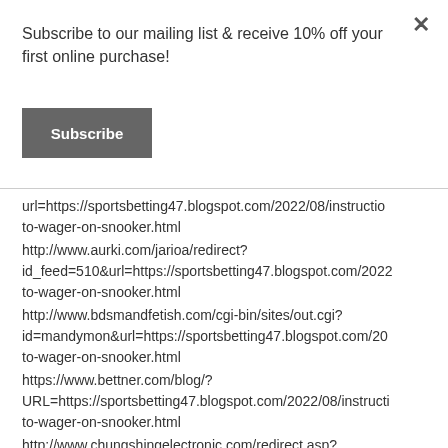Subscribe to our mailing list & receive 10% off your first online purchase!
Subscribe
url=https://sportsbetting47.blogspot.com/2022/08/instructio
to-wager-on-snooker.html
http://www.aurki.com/jarioa/redirect?
id_feed=510&url=https://sportsbetting47.blogspot.com/2022
to-wager-on-snooker.html
http://www.bdsmandferish.com/cgi-bin/sites/out.cgi?
id=mandymon&url=https://sportsbetting47.blogspot.com/20
to-wager-on-snooker.html
https://www.bettner.com/blog/?
URL=https://sportsbetting47.blogspot.com/2022/08/instructi
to-wager-on-snooker.html
http://www.chungshingelectronic.com/redirect.asp?
url=https://sportsbetting47.blogspot.com/2022/08/instructio
to-wager-on-snooker.html